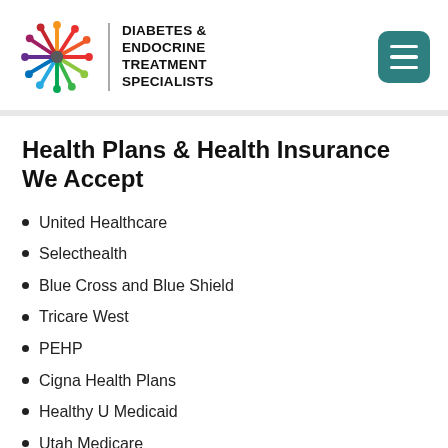[Figure (logo): Diabetes & Endocrine Treatment Specialists logo with colorful starburst icon and text]
Health Plans & Health Insurance We Accept
United Healthcare
Selecthealth
Blue Cross and Blue Shield
Tricare West
PEHP
Cigna Health Plans
Healthy U Medicaid
Utah Medicare
UMR